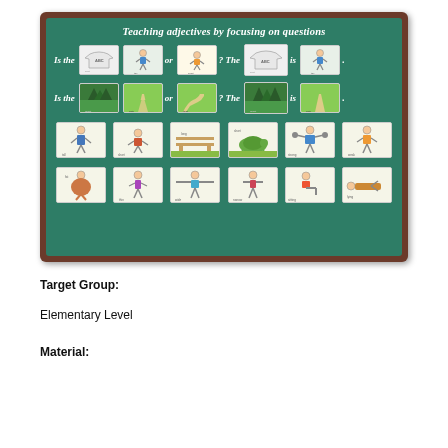[Figure (illustration): A chalkboard-style educational graphic titled 'Teaching adjectives by focusing on questions'. Shows two question rows with picture cards: 'Is the [shirt] [boy] or [boy] ? The [shirt] is [boy].' and 'Is the [forest] [path] or [path]? The [forest] is [path].' Below are two rows of smaller picture cards showing various figures and scenes.]
Target Group:
Elementary Level
Material: